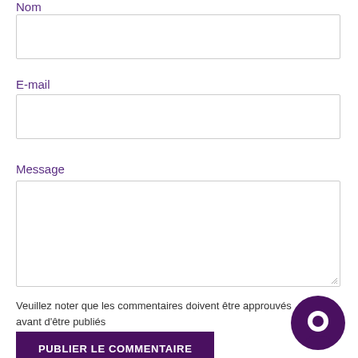Nom
E-mail
Message
Veuillez noter que les commentaires doivent être approuvés avant d'être publiés
PUBLIER LE COMMENTAIRE